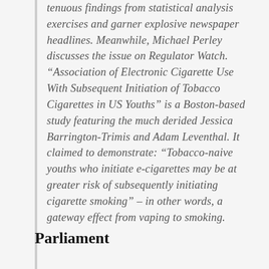tenuous findings from statistical analysis exercises and garner explosive newspaper headlines. Meanwhile, Michael Perley discusses the issue on Regulator Watch. “Association of Electronic Cigarette Use With Subsequent Initiation of Tobacco Cigarettes in US Youths” is a Boston-based study featuring the much derided Jessica Barrington-Trimis and Adam Leventhal. It claimed to demonstrate: “Tobacco-naive youths who initiate e-cigarettes may be at greater risk of subsequently initiating cigarette smoking” – in other words, a gateway effect from vaping to smoking.
Parliament